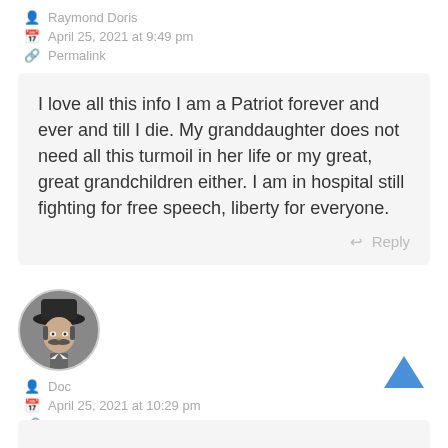Raymond Doris
April 25, 2021 at 9:49 pm
Permalink
I love all this info I am a Patriot forever and ever and till I die. My granddaughter does not need all this turmoil in her life or my great, great grandchildren either. I am in hospital still fighting for free speech, liberty for everyone.
Reply
[Figure (photo): Circular avatar photo of a man in a cowboy hat with a mustache, black and white photo]
Doc
April 25, 2021 at 10:29 pm
Permalink